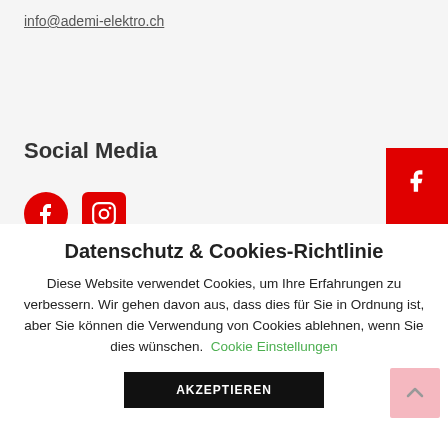info@ademi-elektro.ch
Social Media
[Figure (other): Facebook and Instagram social media icons (red circles/rounded squares) and red sidebar with Facebook and Instagram icons]
Datenschutz & Cookies-Richtlinie
Diese Website verwendet Cookies, um Ihre Erfahrungen zu verbessern. Wir gehen davon aus, dass dies für Sie in Ordnung ist, aber Sie können die Verwendung von Cookies ablehnen, wenn Sie dies wünschen. Cookie Einstellungen
AKZEPTIEREN